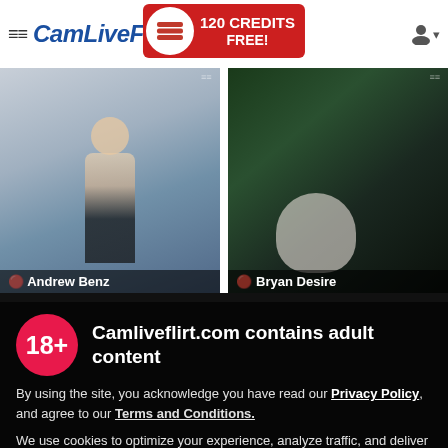CamLiveFlirt — 120 CREDITS FREE!
[Figure (screenshot): Two male model photos side by side. Left: muscular man in black shorts near a pool. Right: tattooed man in white shirt lying down.]
Camliveflirt.com contains adult content
By using the site, you acknowledge you have read our Privacy Policy, and agree to our Terms and Conditions.
We use cookies to optimize your experience, analyze traffic, and deliver more personalized service. To learn more, please see our Privacy Policy.
I AGREE